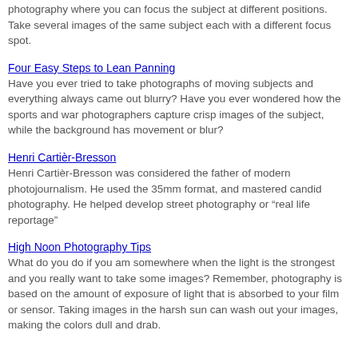photography where you can focus the subject at different positions.  Take several images of the same subject each with a different focus spot.
Four Easy Steps to Lean Panning
Have you ever tried to take photographs of moving subjects and everything always came out blurry?  Have you ever wondered how the sports and war photographers capture crisp images of the subject, while the background has movement or blur?
Henri Cartièr-Bresson
Henri Cartièr-Bresson was considered the father of modern photojournalism. He used the 35mm format, and mastered candid photography. He helped develop street photography or “real life reportage”
High Noon Photography Tips
What do you do if you am somewhere when the light is the strongest and you really want to take some images?   Remember, photography is based on the amount of exposure of light that is absorbed to your film or sensor. Taking images in the harsh sun can wash out your images, making the colors dull and drab.